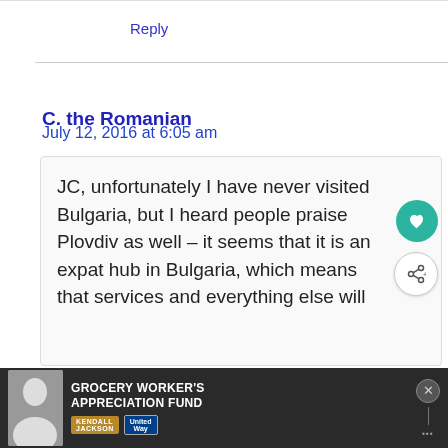Reply
C. the Romanian
July 12, 2016 at 6:05 am
JC, unfortunately I have never visited Bulgaria, but I heard people praise Plovdiv as well – it seems that it is an expat hub in Bulgaria, which means that services and everything else will
[Figure (screenshot): Advertisement banner: Grocery Worker's Appreciation Fund with Kendall Jackson and United Way logos]